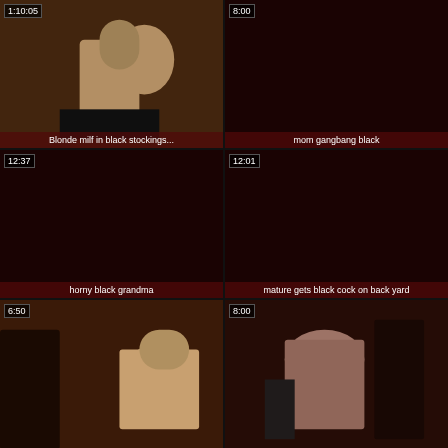[Figure (photo): Thumbnail 1: Blonde milf in black stockings, duration 1:10:05]
Blonde milf in black stockings...
[Figure (photo): Thumbnail 2: mom gangbang black, duration 8:00, dark thumbnail]
mom gangbang black
[Figure (photo): Thumbnail 3: horny black grandma, duration 12:37, dark thumbnail]
horny black grandma
[Figure (photo): Thumbnail 4: mature gets black cock on back yard, duration 12:01, dark thumbnail]
mature gets black cock on back yard
[Figure (photo): Thumbnail 5: blonde woman, duration 6:50]
[Figure (photo): Thumbnail 6: dark-haired woman in stockings, duration 8:00]